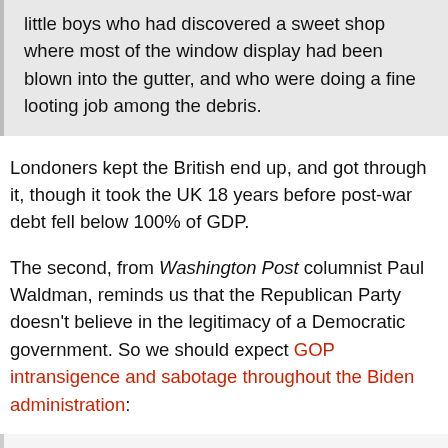little boys who had discovered a sweet shop where most of the window display had been blown into the gutter, and who were doing a fine looting job among the debris.
Londoners kept the British end up, and got through it, though it took the UK 18 years before post-war debt fell below 100% of GDP.
The second, from Washington Post columnist Paul Waldman, reminds us that the Republican Party doesn't believe in the legitimacy of a Democratic government. So we should expect GOP intransigence and sabotage throughout the Biden administration:
We've been here before, and not that long ago. After the 2008 election but before Barack Obama took office, Time magazine put him on